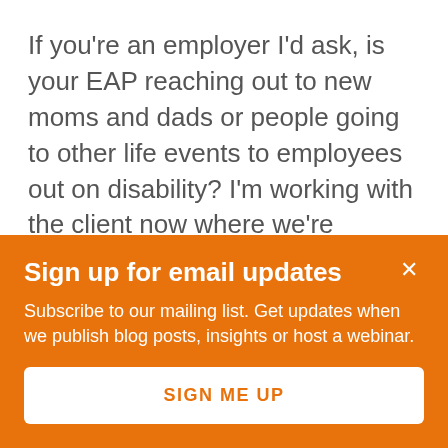If you're an employer I'd ask, is your EAP reaching out to new moms and dads or people going to other life events to employees out on disability? I'm working with the client now where we're looking at adding to the EAPs contract and performance guarantees tied to mental health outcomes to help spark the EAP to be more proactive. Actually I think that a lot of employers can push all their vendors a little bit harder quite honestly and that can help address their capacity
Sign up for email updates
Subscribe to our mailing list. Get updates when we publish blog posts, insights or host a webinar.
SIGN ME UP